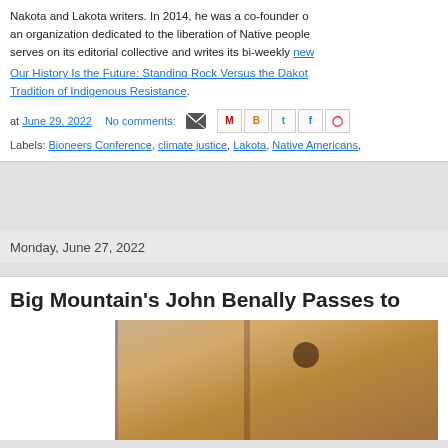Nakota and Lakota writers. In 2014, he was a co-founder of an organization dedicated to the liberation of Native people. He serves on its editorial collective and writes its bi-weekly newsletter. Our History Is the Future: Standing Rock Versus the Dakota Access Pipeline, and the Long Tradition of Indigenous Resistance.
at June 29, 2022   No comments:
Labels: Bioneers Conference, climate justice, Lakota, Native Americans,
Monday, June 27, 2022
Big Mountain's John Benally Passes to
[Figure (photo): Partial photo of a person near wooden structures, cropped at right edge of page]